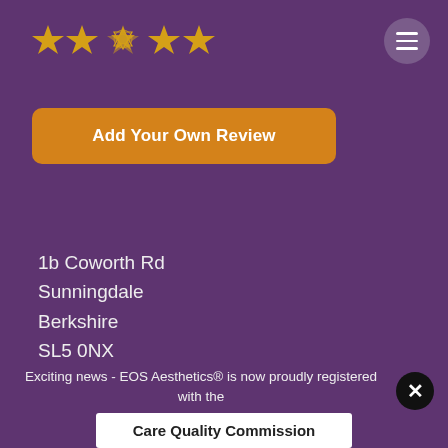[Figure (other): Five gold stars rating with a decorative geometric logo overlaid on the middle star, displayed on a purple background]
Add Your Own Review
1b Coworth Rd
Sunningdale
Berkshire
SL5 0NX
Map
Exciting news - EOS Aesthetics® is now proudly registered with the
Care Quality Commission